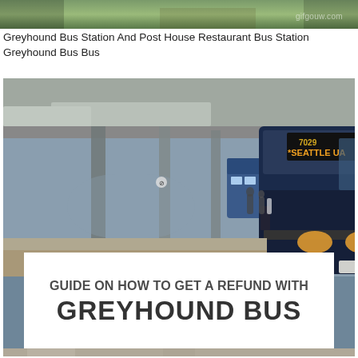[Figure (photo): Partial top strip of a green/outdoor scene photo with a watermark in the upper right corner]
Greyhound Bus Station And Post House Restaurant Bus Station Greyhound Bus Bus
[Figure (photo): A Greyhound bus at a station terminal showing 'SEATTLE UA' destination display, bus number 7029, parked at a covered bus bay with other buses and people in background. A white overlay box at the bottom reads: GUIDE ON HOW TO GET A REFUND WITH GREYHOUND BUS]
[Figure (photo): Partial bottom strip showing what appears to be documents or tickets]